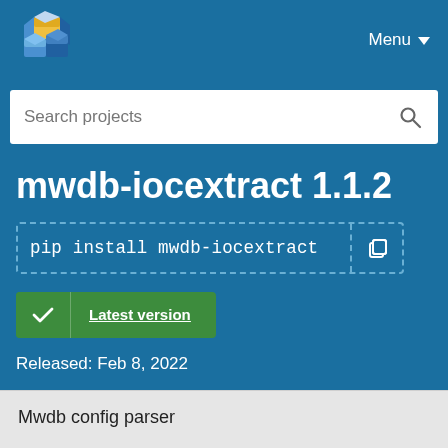[Figure (logo): PyPI logo - stacked colored cube blocks in blue and yellow]
Menu
Search projects
mwdb-iocextract 1.1.2
pip install mwdb-iocextract
Latest version
Released: Feb 8, 2022
Mwdb config parser